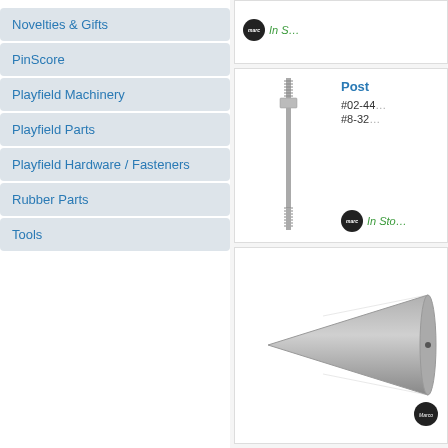Novelties & Gifts
PinScore
Playfield Machinery
Playfield Parts
Playfield Hardware / Fasteners
Rubber Parts
Tools
Post
#02-44
#8-32
In Stock
[Figure (photo): Metal post/stud with threaded ends and nut]
[Figure (photo): Metal cone-shaped part, gray aluminum]